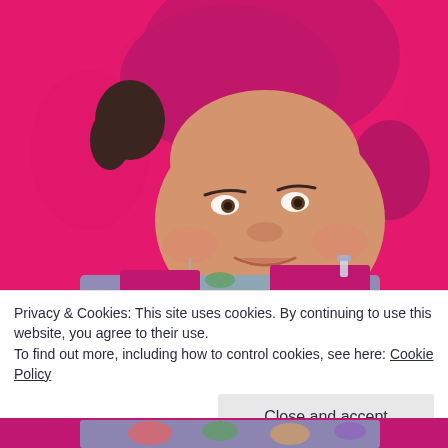[Figure (photo): Woman wearing a bright magenta/pink beret hat and a colorful floral scarf, smiling at the camera against a bright pink wall background. She has dangling crystal earrings.]
Privacy & Cookies: This site uses cookies. By continuing to use this website, you agree to their use.
To find out more, including how to control cookies, see here: Cookie Policy
Close and accept
[Figure (photo): Bottom portion of the same woman with colorful floral scarf visible at the bottom of the page.]